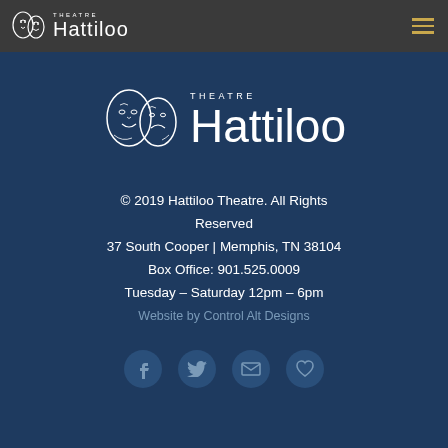Hattiloo Theatre — navigation header with logo and hamburger menu
[Figure (logo): Hattiloo Theatre large centered logo with theatre mask illustration in white on dark blue background]
© 2019 Hattiloo Theatre. All Rights Reserved
37 South Cooper | Memphis, TN 38104
Box Office: 901.525.0009
Tuesday – Saturday 12pm – 6pm
Website by Control Alt Designs
[Figure (other): Social media icons: Facebook, Twitter, Email, Heart/Donate — circular buttons in muted blue-gray]